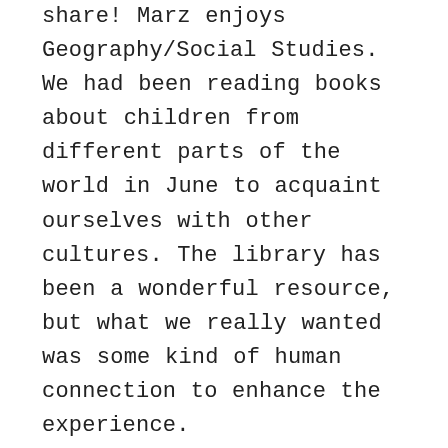share! Marz enjoys Geography/Social Studies. We had been reading books about children from different parts of the world in June to acquaint ourselves with other cultures. The library has been a wonderful resource, but what we really wanted was some kind of human connection to enhance the experience.
Alhamdulillah, I came across a wonderful idea! Postcard swaps! There are numerous groups on